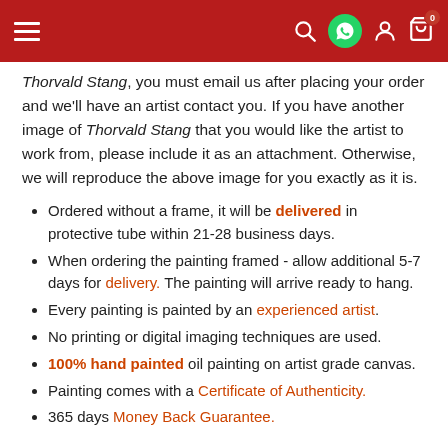Navigation bar with menu, search, whatsapp, account, and cart icons
Thorvald Stang, you must email us after placing your order and we'll have an artist contact you. If you have another image of Thorvald Stang that you would like the artist to work from, please include it as an attachment. Otherwise, we will reproduce the above image for you exactly as it is.
Ordered without a frame, it will be delivered in protective tube within 21-28 business days.
When ordering the painting framed - allow additional 5-7 days for delivery. The painting will arrive ready to hang.
Every painting is painted by an experienced artist.
No printing or digital imaging techniques are used.
100% hand painted oil painting on artist grade canvas.
Painting comes with a Certificate of Authenticity.
365 days Money Back Guarantee.